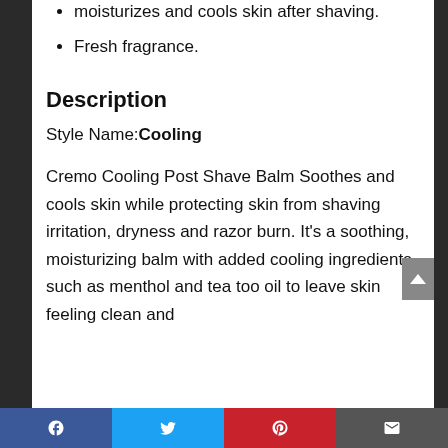moisturizes and cools skin after shaving.
Fresh fragrance.
Description
Style Name: Cooling
Cremo Cooling Post Shave Balm Soothes and cools skin while protecting skin from shaving irritation, dryness and razor burn. It's a soothing, moisturizing balm with added cooling ingredients such as menthol and tea too oil to leave skin feeling clean and